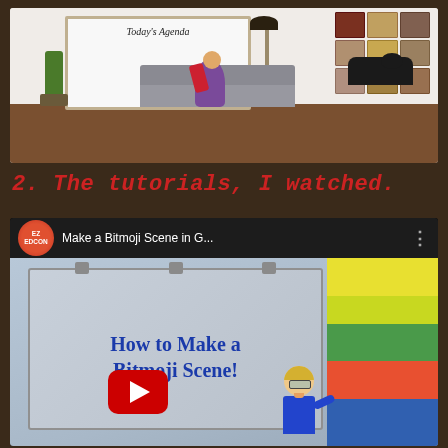[Figure (screenshot): Bitmoji virtual classroom scene showing a whiteboard with 'Today's Agenda', a cartoon figure sitting in a bean bag chair reading, two dogs on a sofa, wall art posters, and a floor lamp]
2. The tutorials, I watched.
[Figure (screenshot): YouTube video thumbnail and header for 'Make a Bitmoji Scene in G...' showing a video titled 'How to Make a Bitmoji Scene!' with a YouTube play button and a bitmoji teacher character]